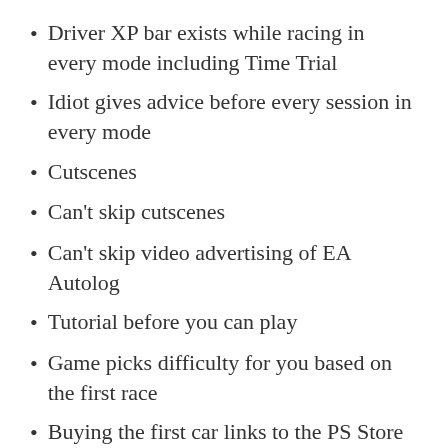Driver XP bar exists while racing in every mode including Time Trial
Idiot gives advice before every session in every mode
Cutscenes
Can't skip cutscenes
Can't skip video advertising of EA Autolog
Tutorial before you can play
Game picks difficulty for you based on the first race
Buying the first car links to the PS Store to spend real money
Long load times